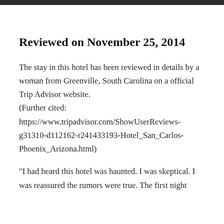Reviewed on November 25, 2014
The stay in this hotel has been reviewed in details by a woman from Greenville, South Carolina on a official Trip Advisor website.
(Further cited:
https://www.tripadvisor.com/ShowUserReviews-g31310-d112162-r241433193-Hotel_San_Carlos-Phoenix_Arizona.html)
“I had heard this hotel was haunted. I was skeptical. I was reassured the rumors were true. The first night